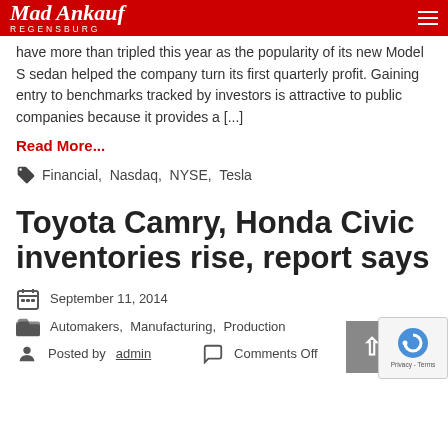Mad Ankauf REGENSBURG
have more than tripled this year as the popularity of its new Model S sedan helped the company turn its first quarterly profit. Gaining entry to benchmarks tracked by investors is attractive to public companies because it provides a [...]
Read More...
Financial, Nasdaq, NYSE, Tesla
Toyota Camry, Honda Civic inventories rise, report says
September 11, 2014
Automakers, Manufacturing, Production
Posted by admin   Comments Off